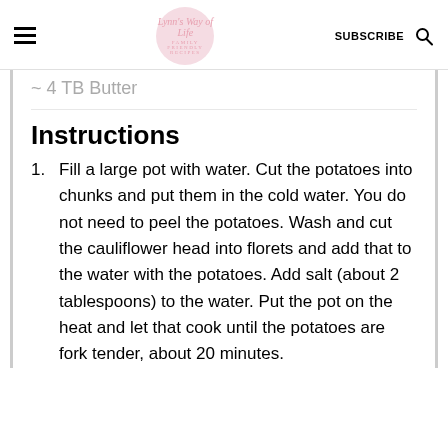Lynn's Way of Life — FAMILY FRIENDLY RECIPES | SUBSCRIBE
4 TB Butter
Instructions
1. Fill a large pot with water. Cut the potatoes into chunks and put them in the cold water. You do not need to peel the potatoes. Wash and cut the cauliflower head into florets and add that to the water with the potatoes. Add salt (about 2 tablespoons) to the water. Put the pot on the heat and let that cook until the potatoes are fork tender, about 20 minutes.